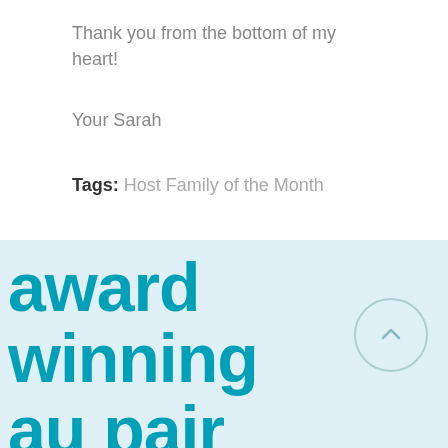Thank you from the bottom of my heart!
Your Sarah
Tags: Host Family of the Month
award winning au pair agency